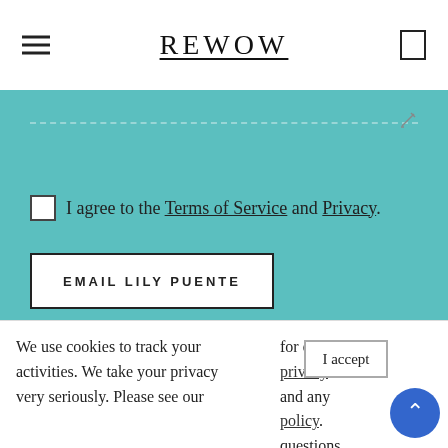REWOW
[Figure (screenshot): Teal form section with dashed input field, checkbox with text 'I agree to the Terms of Service and Privacy.', and EMAIL LILY PUENTE button]
I agree to the Terms of Service and Privacy.
EMAIL LILY PUENTE
RELATED ARTICLES
We use cookies to track your activities. We take your privacy very seriously. Please see our for details privacy and any policy. questions.